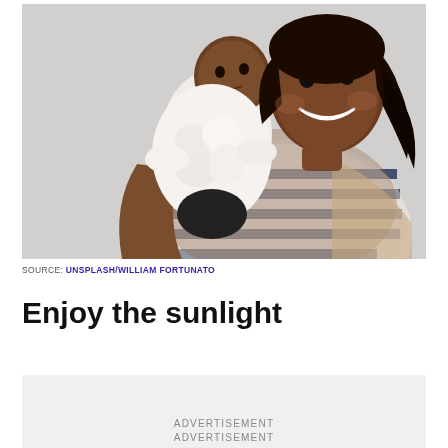[Figure (photo): A smiling woman holding a baby dressed in white. The woman wears a white and navy striped sweater. The background is light gray.]
SOURCE: UNSPLASH/WILLIAM FORTUNATO
Enjoy the sunlight
ADVERTISEMENT
ADVERTISEMENT